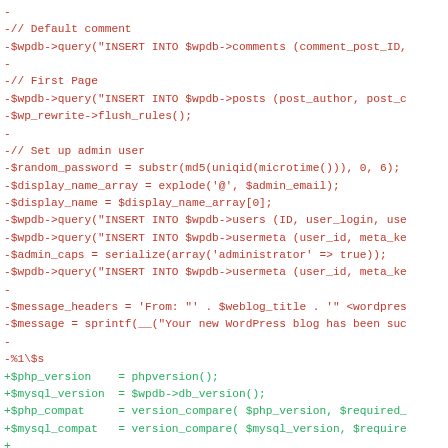[Figure (screenshot): A code diff view showing PHP code changes. Lines beginning with '-' are shown in red (deletions) and lines beginning with '+' are shown in green (additions). The diff shows WordPress installation code including database queries, admin user setup, and PHP/MySQL version compatibility checks.]